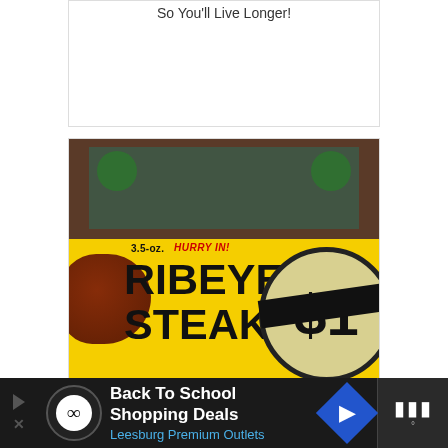So You'll Live Longer!
[Figure (photo): A store front with a yellow promotional banner reading '3.5-oz. HURRY IN! RIBEYE STEAK' with a dollar coin graphic, displayed outside a retail store]
Did You Know You Can Buy $1.00 Steaks From a Dollar Store?
[Figure (photo): A snowy outdoor scene with trees in a blizzard/heavy snowfall]
Back To School Shopping Deals  Leesburg Premium Outlets